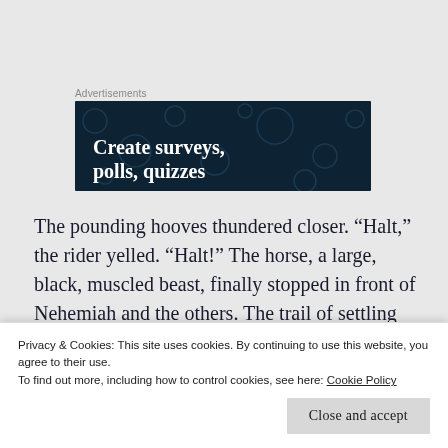Advertisements
[Figure (illustration): Dark navy advertisement banner with decorative dots/circles pattern and white bold serif text reading 'Create surveys, polls, quizzes']
The pounding hooves thundered closer. “Halt,” the rider yelled. “Halt!” The horse, a large, black, muscled beast, finally stopped in front of Nehemiah and the others. The trail of settling dust stretched all the way...
Privacy & Cookies: This site uses cookies. By continuing to use this website, you agree to their use.
To find out more, including how to control cookies, see here: Cookie Policy
Close and accept